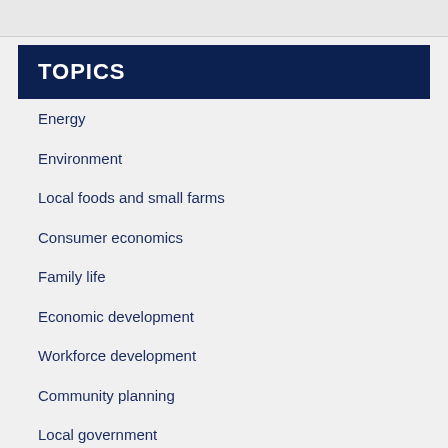TOPICS
Energy
Environment
Local foods and small farms
Consumer economics
Family life
Economic development
Workforce development
Community planning
Local government